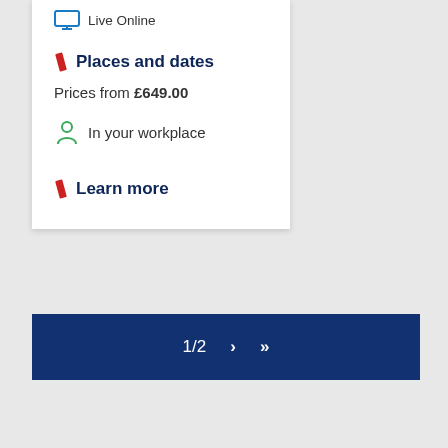Live Online
Places and dates
Prices from £649.00
In your workplace
Learn more
1/2